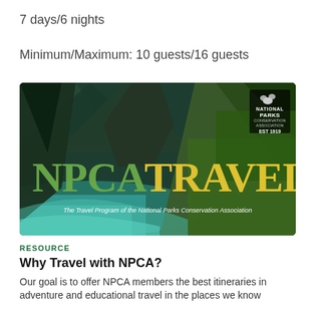7 days/6 nights
Minimum/Maximum: 10 guests/16 guests
[Figure (photo): NPCA Travel banner image showing aerial view of coastal mountains with turquoise water, overlaid with large 'NPCA TRAVEL' text in green and yellow, National Parks Conservation Association logo, and subtitle 'The Travel Program of the National Parks Conservation Association']
RESOURCE
Why Travel with NPCA?
Our goal is to offer NPCA members the best itineraries in adventure and educational travel in the places we know